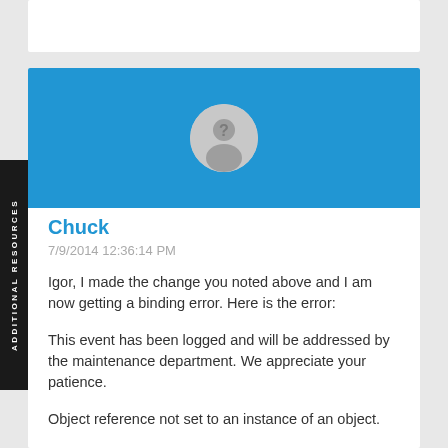[Figure (illustration): Blue banner with circular avatar placeholder (grey silhouette of a person with question mark)]
Chuck
7/9/2014 12:36:14 PM
Igor,  I made the change you noted above and I am now getting  a binding error.  Here is the error:
This event has been logged and will be addressed by the maintenance department. We appreciate your patience.
Object reference not set to an instance of an object.